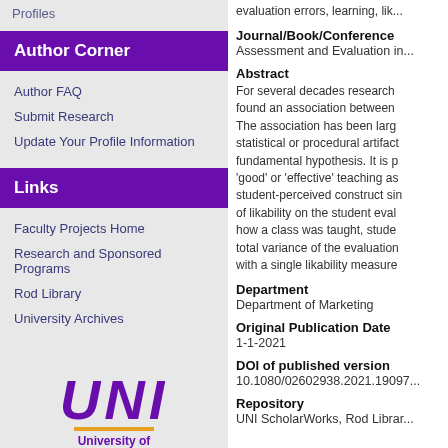Profiles
Author Corner
Author FAQ
Submit Research
Update Your Profile Information
Links
Faculty Projects Home
Research and Sponsored Programs
Rod Library
University Archives
[Figure (logo): UNI - University of Northern Iowa logo with gold underline]
evaluation errors, learning, lik...
Journal/Book/Conference
Assessment and Evaluation in...
Abstract
For several decades research found an association between The association has been large statistical or procedural artifact fundamental hypothesis. It is p 'good' or 'effective' teaching as student-perceived construct sin of likability on the student eval how a class was taught, stude total variance of the evaluation with a single likability measure
Department
Department of Marketing
Original Publication Date
1-1-2021
DOI of published version
10.1080/02602938.2021.19097...
Repository
UNI ScholarWorks, Rod Librar...